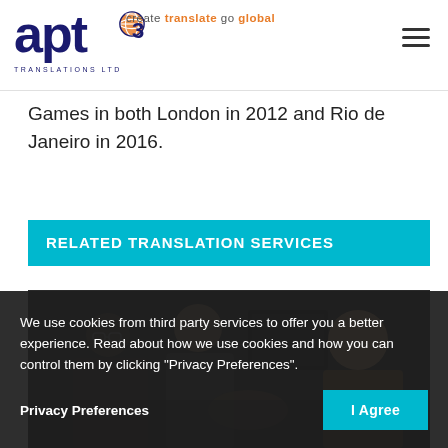[Figure (logo): APT Translations Ltd logo with globe icon and tagline 'create translate go global']
Games in both London in 2012 and Rio de Janeiro in 2016.
RELATED TRANSLATION SERVICES
[Figure (photo): Photo of business people in a meeting, with two people visible on the left and a man on the right]
We use cookies from third party services to offer you a better experience. Read about how we use cookies and how you can control them by clicking "Privacy Preferences".
Privacy Preferences
I Agree